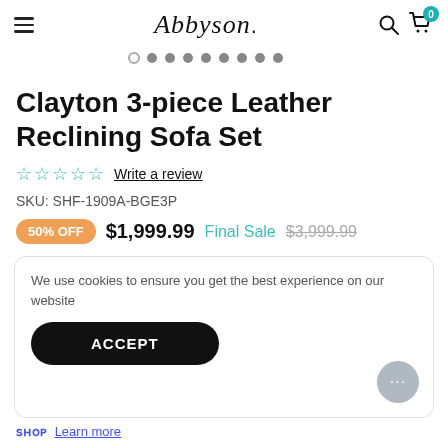Abbyson
Clayton 3-piece Leather Reclining Sofa Set
☆☆☆☆☆ Write a review
SKU: SHF-1909A-BGE3P
50% OFF $1,999.99 Final Sale $3,999.99
We use cookies to ensure you get the best experience on our website
ACCEPT
Shop Learn more